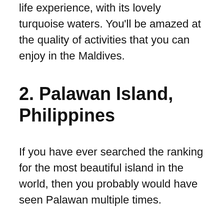life experience, with its lovely turquoise waters. You'll be amazed at the quality of activities that you can enjoy in the Maldives.
2. Palawan Island, Philippines
If you have ever searched the ranking for the most beautiful island in the world, then you probably would have seen Palawan multiple times.
There are so many amazing things you can do in this archipelago, but some of the most popular activities include hiking, diving, fishing, and enjoying its beautiful beaches. If you manage to find yourself in Southeast Asia, please visit